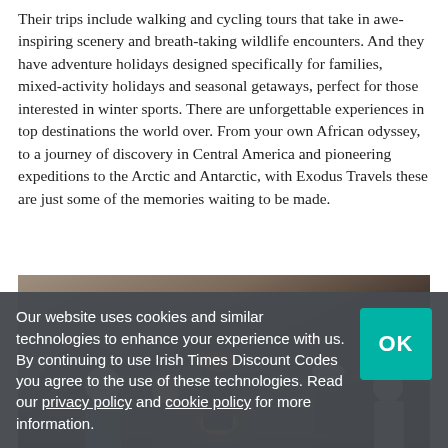Their trips include walking and cycling tours that take in awe-inspiring scenery and breath-taking wildlife encounters. And they have adventure holidays designed specifically for families, mixed-activity holidays and seasonal getaways, perfect for those interested in winter sports. There are unforgettable experiences in top destinations the world over. From your own African odyssey, to a journey of discovery in Central America and pioneering expeditions to the Arctic and Antarctic, with Exodus Travels these are just some of the memories waiting to be made.
[Figure (photo): Group of people sitting together outdoors at dusk or night in a desert/rocky landscape setting, with warm light. A person in a turban/headwrap is prominent in the center.]
Our website uses cookies and similar technologies to enhance your experience with us. By continuing to use Irish Times Discount Codes you agree to the use of these technologies. Read our privacy policy and cookie policy for more information.